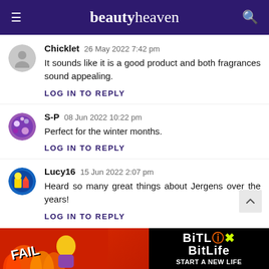beautyheaven
Chicklet   26 May 2022 7:42 pm
It sounds like it is a good product and both fragrances sound appealing.
LOG IN TO REPLY
S-P   08 Jun 2022 10:22 pm
Perfect for the winter months.
LOG IN TO REPLY
Lucy16   15 Jun 2022 2:07 pm
Heard so many great things about Jergens over the years!
LOG IN TO REPLY
[Figure (other): Advertisement banner for BitLife mobile game showing 'FAIL' text and 'START A NEW LIFE' tagline]